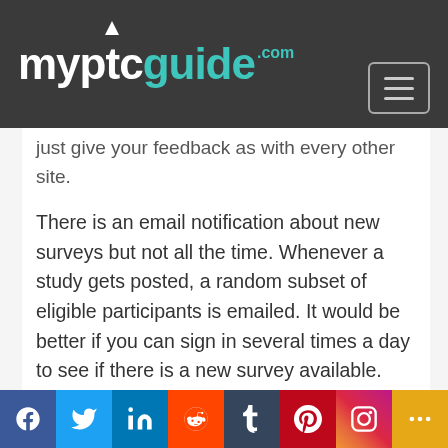myptcguide.com
just give your feedback as with every other site.
There is an email notification about new surveys but not all the time. Whenever a study gets posted, a random subset of eligible participants is emailed. It would be better if you can sign in several times a day to see if there is a new survey available. The researchers are seeking for a specific number of participants so you have to be quick in order to enrol.
An example of a Prolific survey is shown below.
Social share bar: Facebook, Twitter, LinkedIn, Reddit, Tumblr, Pinterest, Instagram, More